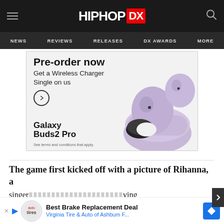HIPHOP DX
NEWS   REVIEWS   RELEASES   DX AWARDS   MORE
[Figure (photo): Samsung Galaxy Buds2 Pro advertisement: Pre-order now, Get a Wireless Charger Single on us. Galaxy Buds2 Pro. See terms and conditions that apply.]
The game first kicked off with a picture of Rihanna, a singer... ...ving on to a... ...Minaj.
[Figure (infographic): Bottom advertisement: Best Brake Replacement Deal - Virginia Tire & Auto of Ashbum F... with Firestone and navigation logo icons]